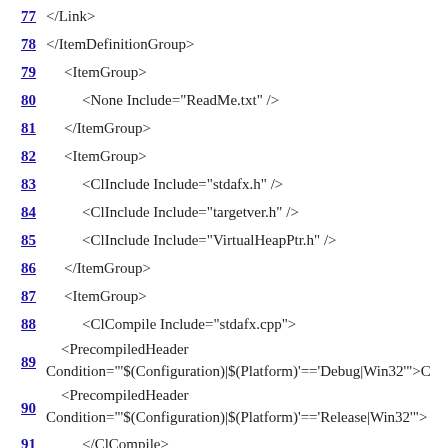77   </Link>
78   </ItemDefinitionGroup>
79   <ItemGroup>
80     <None Include="ReadMe.txt" />
81   </ItemGroup>
82   <ItemGroup>
83     <ClInclude Include="stdafx.h" />
84     <ClInclude Include="targetver.h" />
85     <ClInclude Include="VirtualHeapPtr.h" />
86   </ItemGroup>
87   <ItemGroup>
88     <ClCompile Include="stdafx.cpp">
89       <PrecompiledHeader Condition="'$(Configuration)|$(Platform)'=='Debug|Win32'">C
90       <PrecompiledHeader Condition="'$(Configuration)|$(Platform)'=='Release|Win32'">
91     </ClCompile>
92     <ClCompile Include="VirtualHeapPtr.cpp" />
93   </ItemGroup>
94   <Import Project="$(VCTargetsPath)\Microsoft.Cpp.targets" /
95   <ImportGroup Label="ExtensionTargets">